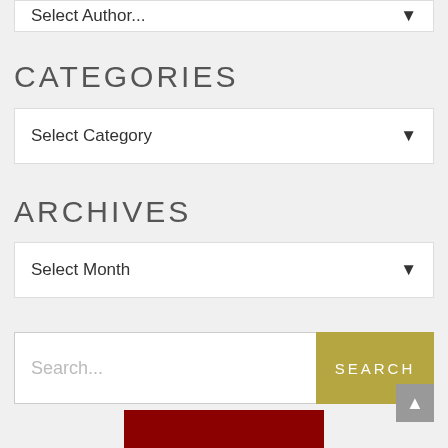Select Author...
CATEGORIES
Select Category
ARCHIVES
Select Month
Search...
SEARCH
[Figure (other): Scroll to top button with upward arrow]
[Figure (other): Dark red/maroon image block at bottom of page]